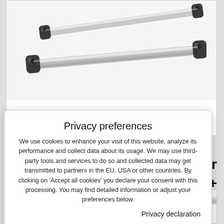[Figure (photo): Product photo of two silver aluminum roof rack bars with black plastic end caps, displayed diagonally on a white background.]
245 € incl. VAT
Privacy preferences
We use cookies to enhance your visit of this website, analyze its performance and collect data about its usage. We may use third-party tools and services to do so and collected data may get transmitted to partners in the EU, USA or other countries. By clicking on 'Accept all cookies' you declare your consent with this processing. You may find detailed information or adjust your preferences below.
Privacy declaration
Show details
Accept all cookies
er, 5 door
S16 +
[Figure (photo): Partial product photo of silver aluminum roof rack bars visible at the bottom edge of the page.]